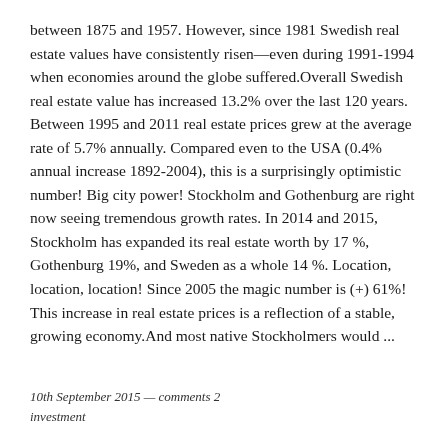between 1875 and 1957. However, since 1981 Swedish real estate values have consistently risen—even during 1991-1994 when economies around the globe suffered.Overall Swedish real estate value has increased 13.2% over the last 120 years. Between 1995 and 2011 real estate prices grew at the average rate of 5.7% annually. Compared even to the USA (0.4% annual increase 1892-2004), this is a surprisingly optimistic number! Big city power! Stockholm and Gothenburg are right now seeing tremendous growth rates. In 2014 and 2015, Stockholm has expanded its real estate worth by 17 %, Gothenburg 19%, and Sweden as a whole 14 %. Location, location, location! Since 2005 the magic number is (+) 61%! This increase in real estate prices is a reflection of a stable, growing economy.And most native Stockholmers would ...
10th September 2015 — comments 2
investment